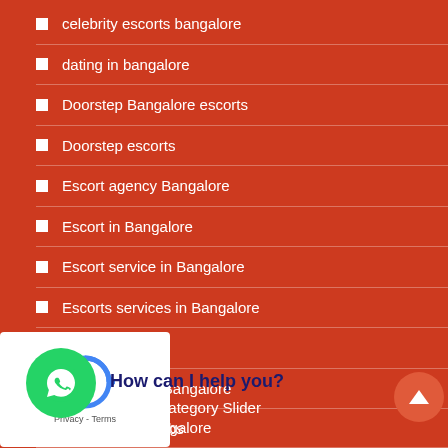celebrity escorts bangalore
dating in bangalore
Doorstep Bangalore escorts
Doorstep escorts
Escort agency Bangalore
Escort in Bangalore
Escort service in Bangalore
Escorts services in Bangalore
female escort
Female Escort Bangalore
female escort jobs
Five-star hotels escorts Bangalore
Footer Category Slider
Gfe escorts Bangalore
How can I help you?